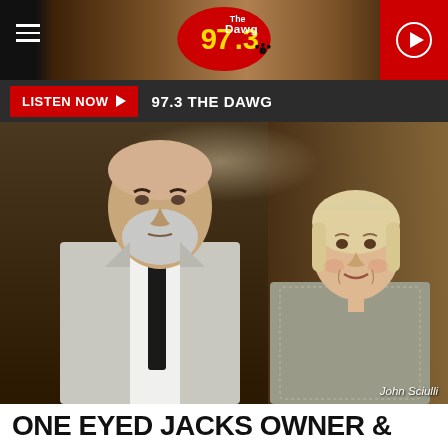97.3 The Dawg – Radio station website header
[Figure (logo): 97.3 The Dawg radio station logo — red oval with '97.3' in yellow and 'The Dawg' text with paw print]
[Figure (photo): Two people posing together: a tall man with grey beard wearing light grey suit and black tie, and a woman with blonde hair wearing a sparkly dress. Event/gala setting with curtains in background.]
John Sciulli
LISTEN NOW ▶   97.3 THE DAWG
ONE EYED JACKS OWNER &